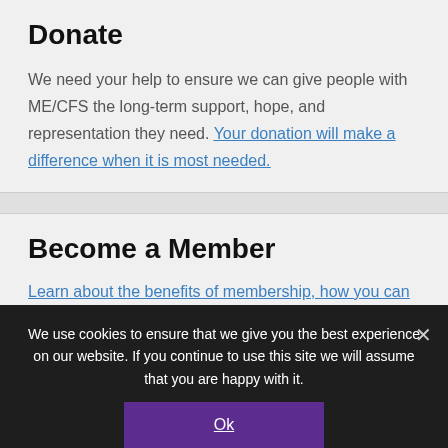Donate
We need your help to ensure we can give people with ME/CFS the long-term support, hope, and representation they need. Your donation will make a difference when it is most needed.
Become a Member
Learn about the benefits of membership, how you can
We use cookies to ensure that we give you the best experience on our website. If you continue to use this site we will assume that you are happy with it.